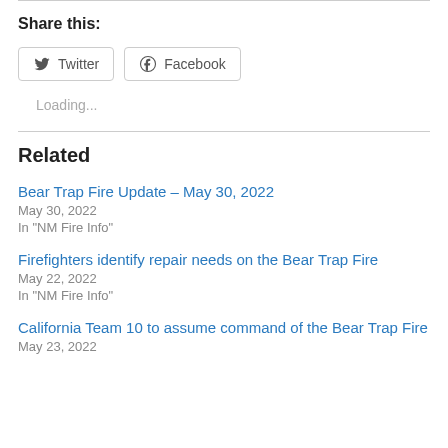Share this:
Twitter  Facebook
Loading...
Related
Bear Trap Fire Update – May 30, 2022
May 30, 2022
In "NM Fire Info"
Firefighters identify repair needs on the Bear Trap Fire
May 22, 2022
In "NM Fire Info"
California Team 10 to assume command of the Bear Trap Fire
May 23, 2022